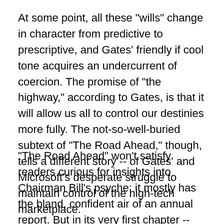At some point, all these "wills" change in character from predictive to prescriptive, and Gates' friendly if cool tone acquires an undercurrent of coercion. The promise of "the highway," according to Gates, is that it will allow us all to control our destinies more fully. The not-so-well-buried subtext of "The Road Ahead," though, tells a different story -- of Gates' and Microsoft's desperate struggle to maintain control of the high-tech marketplace.
"The Road Ahead" won't satisfy readers curious for insights into Chairman Bill's psyche; it mostly has the bland, confident air of an annual report. But in its very first chapter -- next to a cute high-school picture of Gates and Paul Allen scrunched over an old teletype